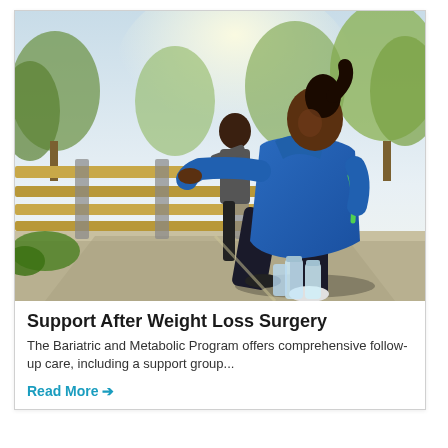[Figure (photo): Two women in athletic wear stretching outdoors near a wooden bench railing in a park. The woman in the foreground wears a blue hoodie and black leggings and is stretching her leg on the railing. Water bottles are visible on the ground.]
Support After Weight Loss Surgery
The Bariatric and Metabolic Program offers comprehensive follow-up care, including a support group...
Read More →